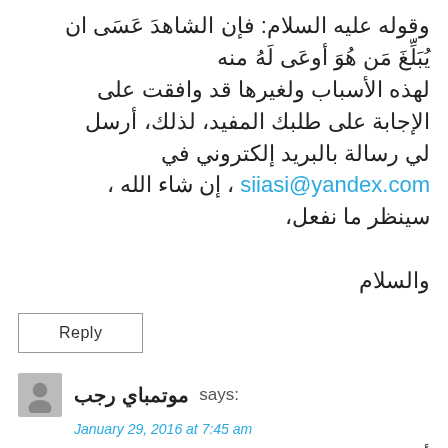وقوله عليه السلام: فإن الشاهد عَسَى ان يُبَلِّغَ مَن هُوَ أوعَى لَهُ منه لهذه الأسباب ولغيرها قد وافقت على الإجابة على طلبك المفيد، لذلك، أرسل لي رسالة بالبريد إلكتروني في siiasi@yandex.com ، إن شاء الله ، سينظر ما نفعل، والسلام
Reply
موتمباي رجب says:
January 29, 2016 at 7:45 am
أرسلت لكم رسالة في الإيميل يا مولانا الشيخ محمد شريف